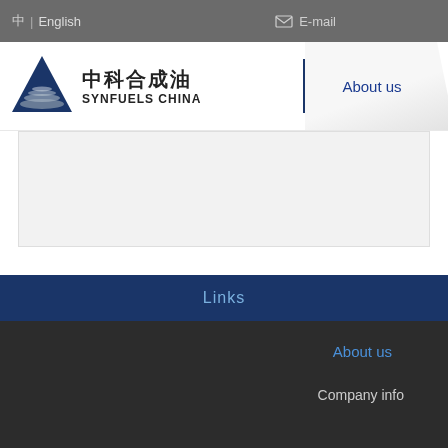中| English  E-mail
[Figure (logo): Synfuels China logo with dark blue triangle and wave graphic, Chinese text 中科合成油 and English text SYNFUELS CHINA]
About us
N
Links
About us
Company info